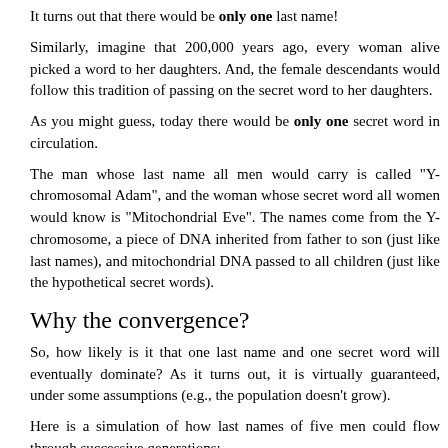It turns out that there would be only one last name!
Similarly, imagine that 200,000 years ago, every woman alive picked a word to her daughters. And, the female descendants would follow this tradition of passing on the secret word to her daughters.
As you might guess, today there would be only one secret word in circulation.
The man whose last name all men would carry is called "Y-chromosomal Adam", and the woman whose secret word all women would know is "Mitochondrial Eve". The names come from the Y-chromosome, a piece of DNA inherited from father to son (just like last names), and mitochondrial DNA passed to all children (just like the hypothetical secret words).
Why the convergence?
So, how likely is it that one last name and one secret word will eventually dominate? As it turns out, it is virtually guaranteed, under some assumptions (e.g., the population doesn't grow).
Here is a simulation of how last names of five men could flow through successive generations:
[Figure (illustration): Diagram showing two generations of colored squares representing individuals. Generation 1 has five squares colored orange, teal, green, red, and purple. Generation 2 has five squares colored orange, teal, green, green, and red. Arrows connect squares between generations showing inheritance of colors/names.]